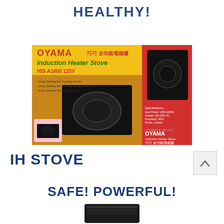HEALTHY!
[Figure (photo): Product box of OYAMA Induction Heater Stove HIS-A1600 120V showing the black induction stove and food imagery on red and yellow packaging]
IH STOVE
SAFE! POWERFUL!
[Figure (photo): Bottom portion of a black induction heater stove device]